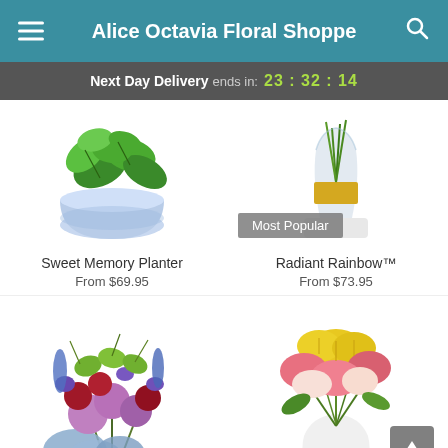Alice Octavia Floral Shoppe
Next Day Delivery ends in: 23 : 32 : 14
[Figure (photo): Sweet Memory Planter - green leafy plant in blue and white ceramic pot]
Sweet Memory Planter
From $69.95
[Figure (photo): Radiant Rainbow flower arrangement in a glass vase with gold band, labeled Most Popular]
Radiant Rainbow™
From $73.95
[Figure (photo): Purple, pink, and blue mixed flower bouquet with roses and hydrangeas]
[Figure (photo): Yellow, pink, and red alstroemeria flower bouquet in white vase]